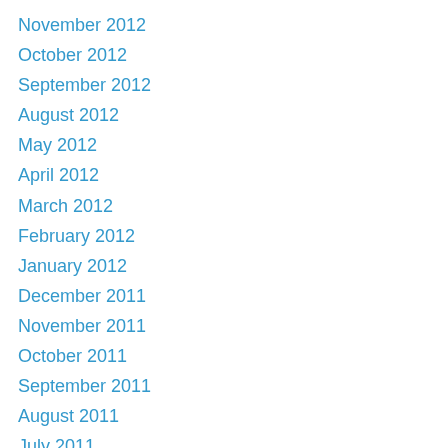November 2012
October 2012
September 2012
August 2012
May 2012
April 2012
March 2012
February 2012
January 2012
December 2011
November 2011
October 2011
September 2011
August 2011
July 2011
June 2011
May 2011
April 2011
March 2011
February 2011